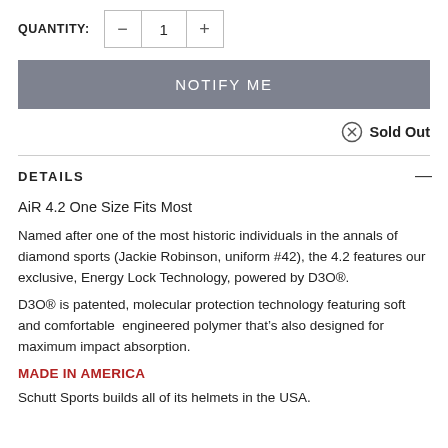QUANTITY: 1
NOTIFY ME
Sold Out
DETAILS
AiR 4.2 One Size Fits Most
Named after one of the most historic individuals in the annals of diamond sports (Jackie Robinson, uniform #42), the 4.2 features our exclusive, Energy Lock Technology, powered by D3O®.
D3O® is patented, molecular protection technology featuring soft and comfortable  engineered polymer that’s also designed for maximum impact absorption.
MADE IN AMERICA
Schutt Sports builds all of its helmets in the USA.